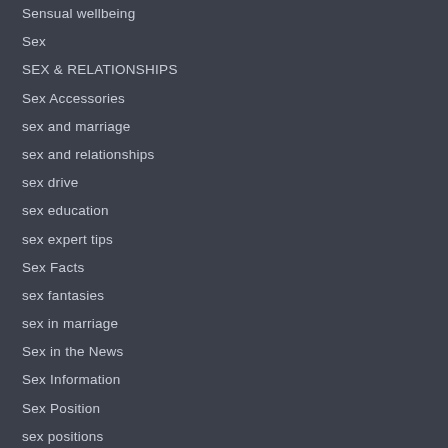Sensual wellbeing
Sex
SEX & RELATIONSHIPS
Sex Accessories
sex and marriage
sex and relationships
sex drive
sex education
sex expert tips
Sex Facts
sex fantasies
sex in marriage
Sex in the News
Sex Information
Sex Position
sex positions
Sex Related Days
sex talking
sex tip